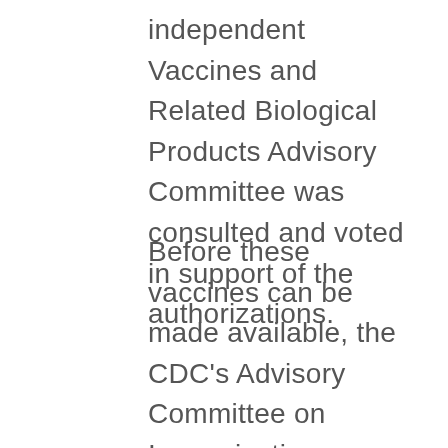independent Vaccines and Related Biological Products Advisory Committee was consulted and voted in support of the authorizations.
Before these vaccines can be made available, the CDC's Advisory Committee on Immunization Practices must vote on whether to recommend them–a vote is scheduled for this weekend—as well as the Western States Scientific Safety Review